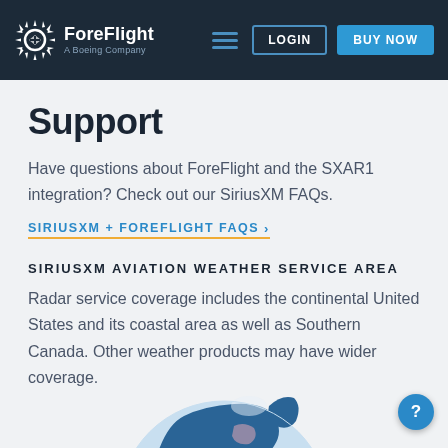ForeFlight — A Boeing Company | LOGIN | BUY NOW
Support
Have questions about ForeFlight and the SXAR1 integration? Check out our SiriusXM FAQs.
SIRIUSXM + FOREFLIGHT FAQS >
SIRIUSXM AVIATION WEATHER SERVICE AREA
Radar service coverage includes the continental United States and its coastal area as well as Southern Canada. Other weather products may have wider coverage.
[Figure (map): Partial globe/map showing North America, Canada, and surrounding regions with blue ocean and land masses, partially cropped at bottom of page.]